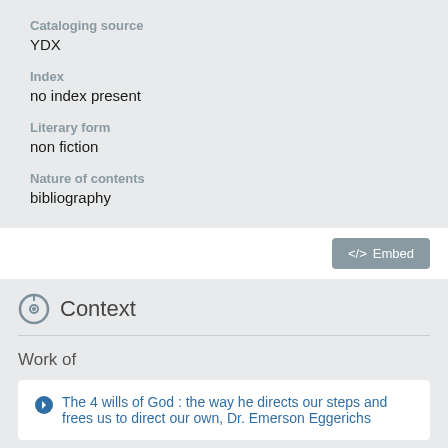Cataloging source
YDX
Index
no index present
Literary form
non fiction
Nature of contents
bibliography
</> Embed
Context
Work of
The 4 wills of God : the way he directs our steps and frees us to direct our own, Dr. Emerson Eggerichs